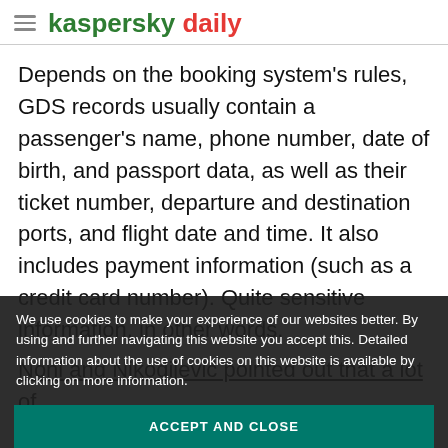kaspersky daily
Depends on the booking system’s rules, GDS records usually contain a passenger’s name, phone number, date of birth, and passport data, as well as their ticket number, departure and destination ports, and flight date and time. It also includes payment information (such as a credit card number). Quite sensitive information, in other words.
Nohl and Nikodijević pointed out that a lot of
airlines workers, tour operators, hotels
suppose that governmental agencies can read
We use cookies to make your experience of our websites better. By using and further navigating this website you accept this. Detailed information about the use of cookies on this website is available by clicking on more information.
ACCEPT AND CLOSE